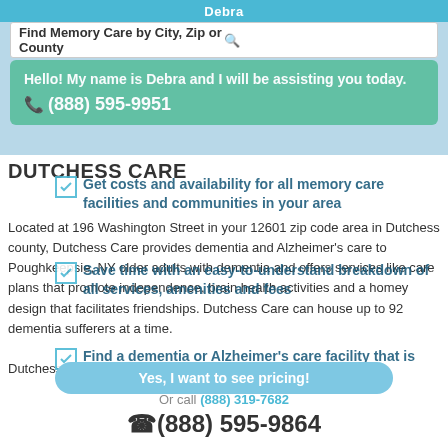Debra
Find Memory Care by City, Zip or County
Hello! My name is Debra and I will be assisting you today.  (888) 595-9951
DUTCHESS CARE
Located at 196 Washington Street in your 12601 zip code area in Dutchess county, Dutchess Care provides dementia and Alzheimer's care to Poughkeepsie, NY older adults with dementia and offers services like care plans that promote independence, brain health activities and a homey design that facilitates friendships. Dutchess Care can house up to 92 dementia sufferers at a time. Dutchess Care has official license # of AFO239A.
Get costs and availability for all memory care facilities and communities in your area
Save time with an easy-to-understand breakdown of all services, amenities and fees
Find a dementia or Alzheimer's care facility that is perfect for your loved one
Yes, I want to see pricing!
Or call (888) 319-7682
(888) 595-9864